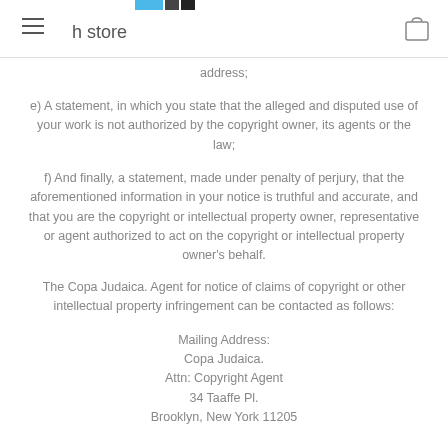h store
address;
e) A statement, in which you state that the alleged and disputed use of your work is not authorized by the copyright owner, its agents or the law;
f) And finally, a statement, made under penalty of perjury, that the aforementioned information in your notice is truthful and accurate, and that you are the copyright or intellectual property owner, representative or agent authorized to act on the copyright or intellectual property owner's behalf.
The Copa Judaica. Agent for notice of claims of copyright or other intellectual property infringement can be contacted as follows:
Mailing Address:
Copa Judaica.
Attn: Copyright Agent
34 Taaffe Pl.
Brooklyn, New York 11205